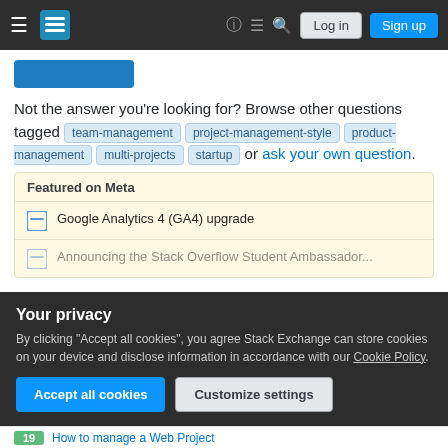[Figure (screenshot): Stack Exchange navigation bar with hamburger menu, logo, icons, Log in and Sign up buttons on dark background]
Not the answer you're looking for? Browse other questions tagged team-management project-management-style product-management multi-projects startup or ask your own question.
Featured on Meta
Google Analytics 4 (GA4) upgrade
Announcing the Stack Overflow Student Ambassador...
Your privacy
By clicking "Accept all cookies", you agree Stack Exchange can store cookies on your device and disclose information in accordance with our Cookie Policy.
19  How to manage a Web Project